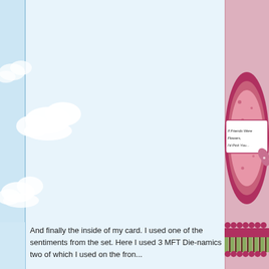[Figure (photo): Photo of a handmade greeting card with pink cardstock background. The card features a dark pink/magenta decorative label/oval shape with patterned pink paper, and a white rectangle with the stamped text 'If Friends Were Flowers, I'd Pick You...' in a hand-lettered style font. A decorative pink butterfly embellishment is attached on the right side of the label. At the bottom of the card is a scallop-edged dark pink border strip with a striped ribbon (green and brown stripes) layered on top.]
And finally the inside of my card. I used one of the sentiments from the set. Here I used 3 MFT Die-namics two of which I used on the front...